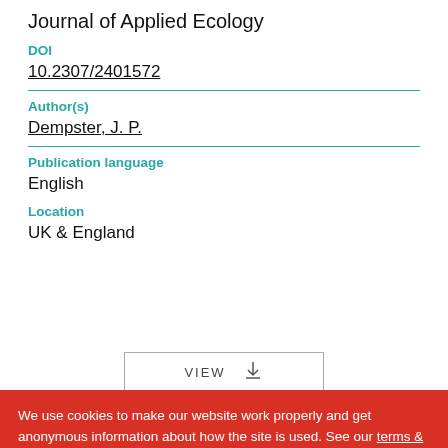Journal of Applied Ecology
DOI
10.2307/2401572
Author(s)
Dempster, J. P.
Publication language
English
Location
UK & England
[Figure (other): VIEW button with download icon]
We use cookies to make our website work properly and get anonymous information about how the site is used. See our terms & conditions. Click OK to accept, or Essential cookies if you don't want us to have this anonymous data.
OK
Essential cookies